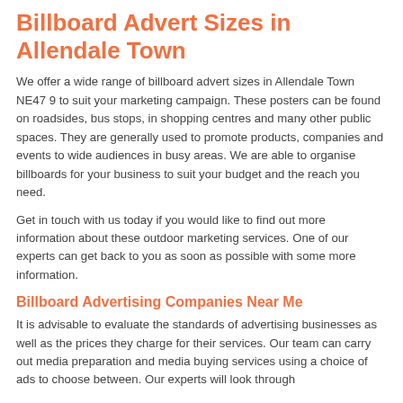Billboard Advert Sizes in Allendale Town
We offer a wide range of billboard advert sizes in Allendale Town NE47 9 to suit your marketing campaign. These posters can be found on roadsides, bus stops, in shopping centres and many other public spaces. They are generally used to promote products, companies and events to wide audiences in busy areas. We are able to organise billboards for your business to suit your budget and the reach you need.
Get in touch with us today if you would like to find out more information about these outdoor marketing services. One of our experts can get back to you as soon as possible with some more information.
Billboard Advertising Companies Near Me
It is advisable to evaluate the standards of advertising businesses as well as the prices they charge for their services. Our team can carry out media preparation and media buying services using a choice of ads to choose between. Our experts will look through